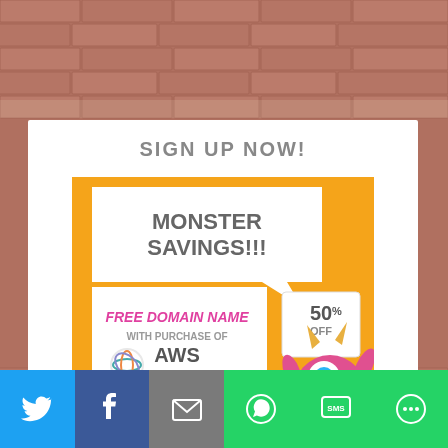SIGN UP NOW!
[Figure (infographic): Advertisement for AWS Specialty Niche Services. Text: MONSTER SAVINGS!!! FREE DOMAIN NAME WITH PURCHASE OF AWS SPECIALTY NICHE SERVICES CALL TODAY!!! 50% OFF LIMITED TIME OFFER 602-714-5181. Includes a cartoon monster character and AWS logo.]
[Figure (infographic): Social sharing bar with Twitter, Facebook, Email, WhatsApp, SMS, and More buttons]